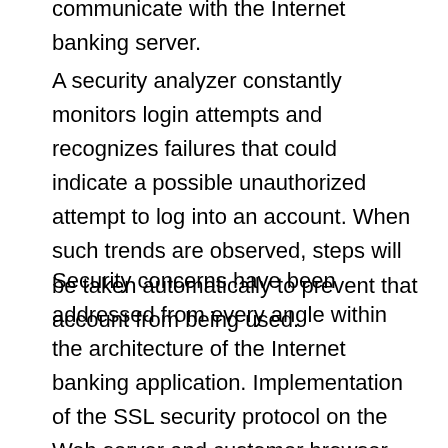communicate with the Internet banking server.
A security analyzer constantly monitors login attempts and recognizes failures that could indicate a possible unauthorized attempt to log into an account. When such trends are observed, steps will be taken automatically to prevent that account from being used.
Security concerns have been addressed from every angle within the architecture of the Internet banking application. Implementation of the SSL security protocol on the Web server and customer browser ensures authenticated data has been received from the customer. The three-tiered approach of the Internet banking application creates a double firewall which performs information requests over dedicated networks designed to handle specific functions